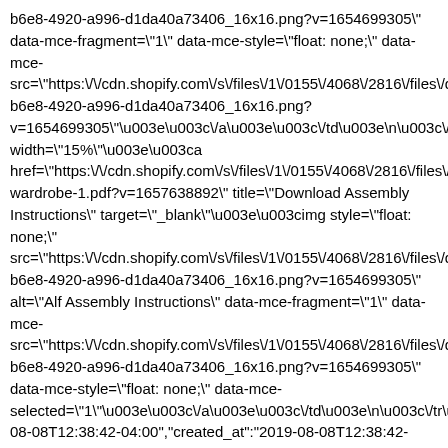b6e8-4920-a996-d1da40a73406_16x16.png?v=1654699305\" data-mce-fragment=\"1\" data-mce-style=\"float: none;\" data-mce-src=\"https:\/\/cdn.shopify.com\/s\/files\/1\/0155\/4068\/2816\/files\/d b6e8-4920-a996-d1da40a73406_16x16.png?v=1654699305\"\u003e\u003c\/a\u003e\u003c\/td\u003e\n\u003c\/tr width=\"15%\"\u003e\u003ca href=\"https:\/\/cdn.shopify.com\/s\/files\/1\/0155\/4068\/2816\/files\/ wardrobe-1.pdf?v=1657638892\" title=\"Download Assembly Instructions\" target=\"_blank\"\u003e\u003cimg style=\"float: none;\" src=\"https:\/\/cdn.shopify.com\/s\/files\/1\/0155\/4068\/2816\/files\/d b6e8-4920-a996-d1da40a73406_16x16.png?v=1654699305\" alt=\"Alf Assembly Instructions\" data-mce-fragment=\"1\" data-mce-src=\"https:\/\/cdn.shopify.com\/s\/files\/1\/0155\/4068\/2816\/files\/d b6e8-4920-a996-d1da40a73406_16x16.png?v=1654699305\" data-mce-style=\"float: none;\" data-mce-selected=\"1\"\u003e\u003c\/a\u003e\u003c\/td\u003e\n\u003c\/tr\u0 08-08T12:38:42-04:00","created_at":"2019-08-08T12:38:42-04:00","vendor":"Alf Italia","type":"Bedroom Sets","tags": ["Availability_Stocked","Bed SIze_California King","Bed Size_King","Bed Size_Queen","Bed Type_Platform","bedroom","Bedroom Collection","Bedroom Sets","Category_Bedrooms","Color_Brown","Color_Grey","Discount Code_Yes","Features_Adjustable Base